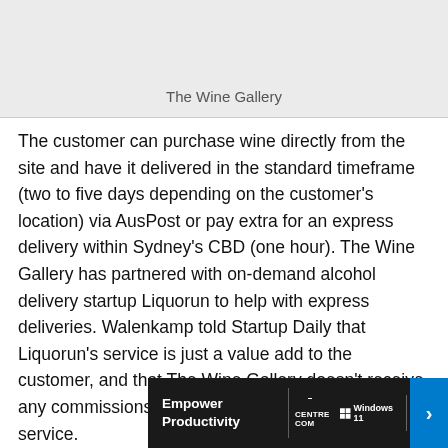[Figure (screenshot): Gray placeholder image area labeled 'The Wine Gallery']
The Wine Gallery
The customer can purchase wine directly from the site and have it delivered in the standard timeframe (two to five days depending on the customer’s location) via AusPost or pay extra for an express delivery within Sydney’s CBD (one hour). The Wine Gallery has partnered with on-demand alcohol delivery startup Liquorun to help with express deliveries. Walenkamp told Startup Daily that Liquorun’s service is just a value add to the customer, and that The Wine Gallery doesn’t receive any commissions for linking customers to the service.
Altogether The Wine Gallery sells 20 wines, which may seem small at first, but when you consider the problem the sta... limiting... ...tent
[Figure (screenshot): Advertisement banner: 'Empower Productivity' with Centre Com, Windows 11, Intel vPRO logos]